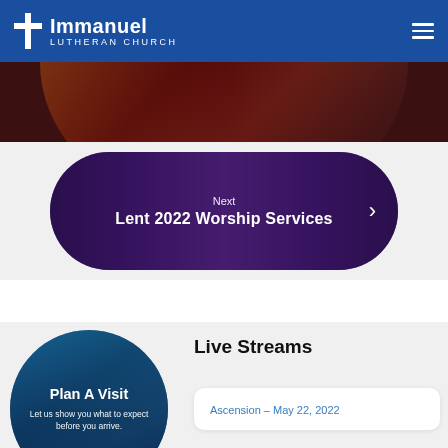Immanuel Lutheran Church
[Figure (photo): Top portion of a circular food/floral photo, partially visible below the header]
[Figure (photo): Rounded pill-shaped banner with crucifixion scene background, text overlay reading 'Next' and 'Lent 2022 Worship Services' with a right chevron arrow]
[Figure (photo): Circular photo of congregation/people with 'Plan A Visit' text overlay and description 'Let us show you what to expect before you arrive.']
Live Streams
Ascension – May 22, 2022